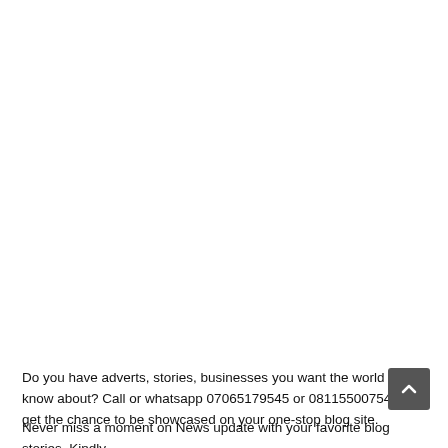Do you have adverts, stories, businesses you want the world to know about? Call or whatsapp 07065179545 or 08115500754 to get the chance to be showcased on your one-stop blog site.
Never miss a moment on News update with your favorite blog stories. Kindly